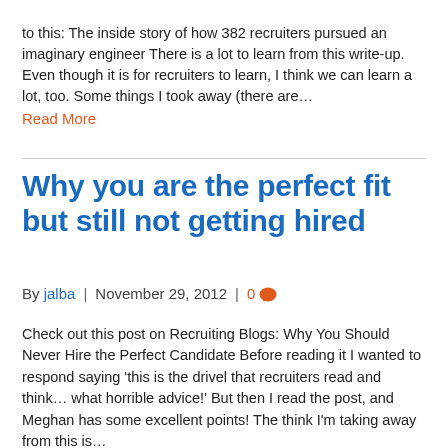to this: The inside story of how 382 recruiters pursued an imaginary engineer There is a lot to learn from this write-up.  Even though it is for recruiters to learn, I think we can learn a lot, too.  Some things I took away (there are…
Read More
Why you are the perfect fit but still not getting hired
By jalba | November 29, 2012 | 0
Check out this post on Recruiting Blogs: Why You Should Never Hire the Perfect Candidate Before reading it I wanted to respond saying 'this is the drivel that recruiters read and think… what horrible advice!' But then I read the post, and Meghan has some excellent points!  The think I'm taking away from this is…